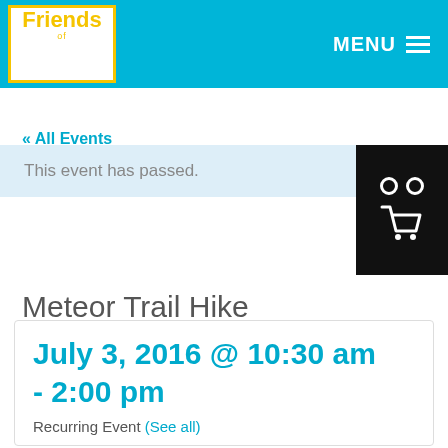Friends of SantaCruz State Parks THATSMYPARK.ORG | MENU
« All Events
This event has passed.
Meteor Trail Hike
July 3, 2016 @ 10:30 am - 2:00 pm
Recurring Event (See all)